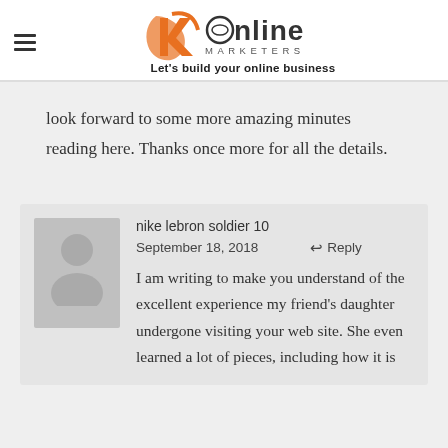[Figure (logo): JK Online Marketers logo with orange K graphic, text 'Online Marketers' and tagline 'Let's build your online business']
look forward to some more amazing minutes reading here. Thanks once more for all the details.
nike lebron soldier 10
September 18, 2018
Reply
I am writing to make you understand of the excellent experience my friend's daughter undergone visiting your web site. She even learned a lot of pieces, including how it is